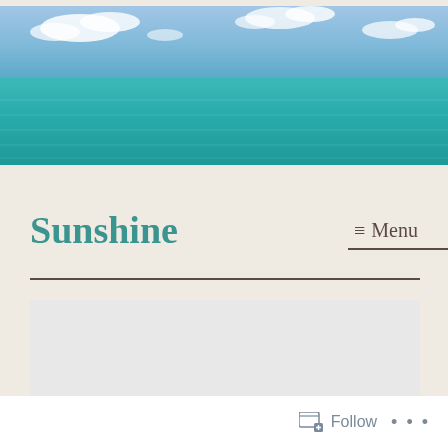[Figure (photo): A panoramic beach photo showing turquoise-blue ocean water under a partly cloudy blue sky. The horizon line divides the image roughly in the upper third with sky and lower portion with vivid teal water.]
Sunshine
≡ Menu
Follow  ...